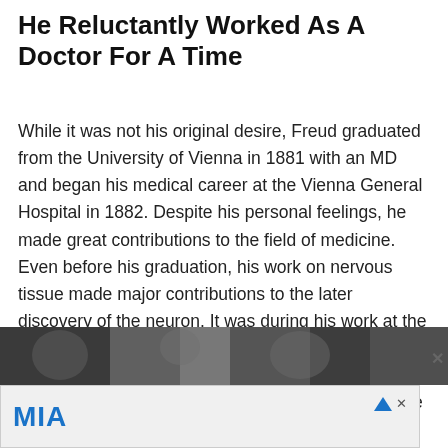He Reluctantly Worked As A Doctor For A Time
While it was not his original desire, Freud graduated from the University of Vienna in 1881 with an MD and began his medical career at the Vienna General Hospital in 1882. Despite his personal feelings, he made great contributions to the field of medicine. Even before his graduation, his work on nervous tissue made major contributions to the later discovery of the neuron. It was during his work at the hospital that Freud first wrote about the healthful effects of cocaine in curing diseases. Nonetheless, he resigned from this post in 1886, marrying his wife Martha Bernays in the same year and later opening his own private practice.
[Figure (photo): A black and white photograph strip partially visible at the bottom of the content area.]